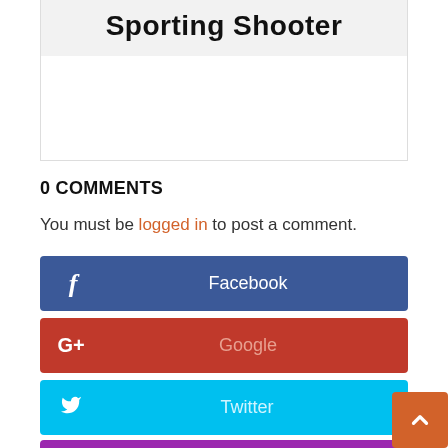Sporting Shooter
0 COMMENTS
You must be logged in to post a comment.
Facebook
Google
Twitter
Instagram